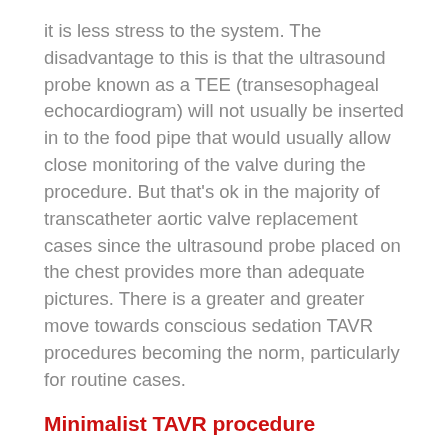it is less stress to the system. The disadvantage to this is that the ultrasound probe known as a TEE (transesophageal echocardiogram) will not usually be inserted in to the food pipe that would usually allow close monitoring of the valve during the procedure. But that's ok in the majority of transcatheter aortic valve replacement cases since the ultrasound probe placed on the chest provides more than adequate pictures. There is a greater and greater move towards conscious sedation TAVR procedures becoming the norm, particularly for routine cases.
Minimalist TAVR procedure
In particularly experienced centers such as Princeton Baptist Medical Center, a truly minimalist approach to transcatheter aortic valve replacement may be adopted whereby the patient